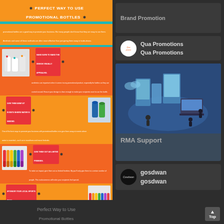[Figure (infographic): Infographic titled 'Perfect Way to Use Promotional Bottles' with sections: Make sure to make the design visually appealing, Give them away at events where water is needed, Give them out as limited freebies, Sponsor your local sports team. Includes images of bottles and sports bottles. Credit: Design and Developed By Quapromotions.com.au with Qua Promotions logo.]
Perfect Way to Use Promotional Bottles
[Figure (infographic): Brand Promotion card in dark gray]
[Figure (infographic): Qua Promotions card with circular logo and name repeated twice]
[Figure (illustration): RMA Support card showing isometric illustration of tech/IT support scene with people and computers, price tag $100]
RMA Support
[Figure (infographic): gosdwan profile card with dark circular logo and name repeated twice]
Top